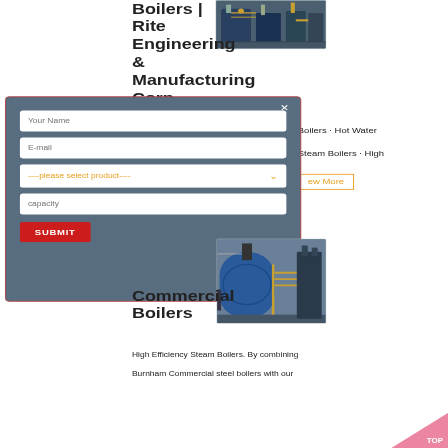Boilers | Rite Engineering & Manufacturing Corp.
[Figure (photo): Industrial boiler equipment in a manufacturing facility]
Boiler Brochures. Durafin Boilers · High Boilers · Hot Water Steam Boilers · High
[Figure (screenshot): Contact form modal with fields: Your Name, E-mail, product dropdown, capacity, and SUBMIT button. Has an X close button.]
ew More
[Figure (photo): Commercial boiler equipment with blue boiler tank and yellow pipes in industrial setting]
Commercial Boilers
High Efficiency Steam Boilers. By combining
Burnham Commercial steel boilers with our